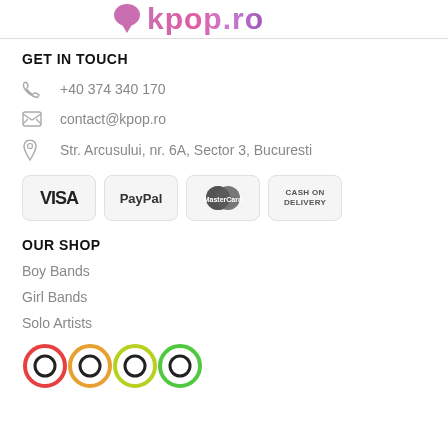[Figure (logo): kpop.ro logo with speech bubble icon and gradient pink/purple text]
GET IN TOUCH
+40 374 340 170
contact@kpop.ro
Str. Arcusului, nr. 6A, Sector 3, Bucuresti
[Figure (infographic): Payment method badges: VISA, PayPal, MasterCard, CASH ON DELIVERY]
OUR SHOP
Boy Bands
Girl Bands
Solo Artists
[Figure (logo): Row of colorful circular social media or partner icons at bottom]